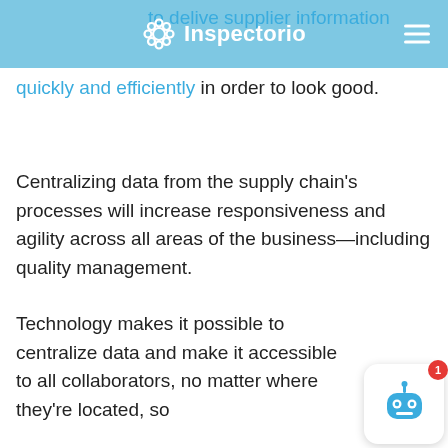Inspectorio
to deliver supplier information quickly and efficiently in order to look good.
Centralizing data from the supply chain's processes will increase responsiveness and agility across all areas of the business—including quality management.
Technology makes it possible to centralize data and make it accessible to all collaborators, no matter where they're located, so